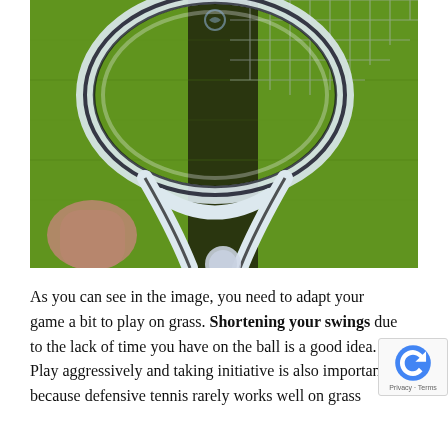[Figure (photo): A white tennis racket held by a person's hand on a green grass tennis court. The racket casts a dark shadow on the grass. A tennis ball is partially visible at the bottom center of the image.]
As you can see in the image, you need to adapt your game a bit to play on grass. Shortening your swings due to the lack of time you have on the ball is a good idea. Playing aggressively and taking initiative is also important because defensive tennis rarely works well on grass